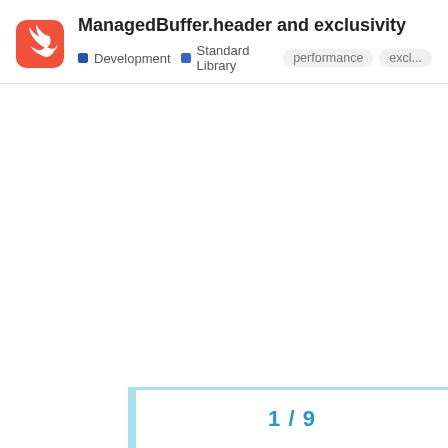ManagedBuffer.header and exclusivity
Development | Standard Library | performance | excl...
1 / 9